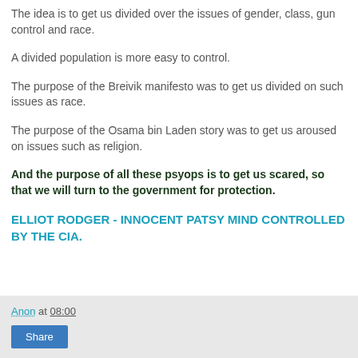The idea is to get us divided over the issues of gender, class, gun control and race.
A divided population is more easy to control.
The purpose of the Breivik manifesto was to get us divided on such issues as race.
The purpose of the Osama bin Laden story was to get us aroused on issues such as religion.
And the purpose of all these psyops is to get us scared, so that we will turn to the government for protection.
ELLIOT RODGER - INNOCENT PATSY MIND CONTROLLED BY THE CIA.
Anon at 08:00  Share